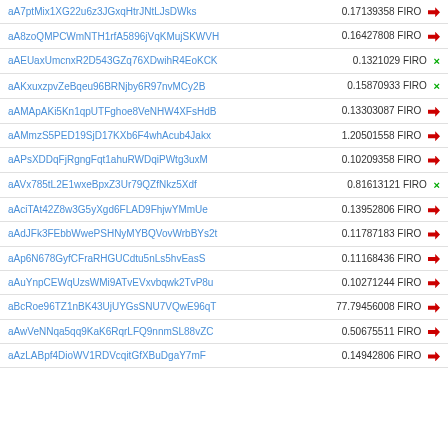| Address | Amount |
| --- | --- |
| aA7ptMix1XG22u6z3JGxqHtrJNtLJsDWks | 0.17139358 FIRO → |
| aA8zoQMPCWmNTH1rfA5896jVqKMujSKWVH | 0.16427808 FIRO → |
| aAEUaxUmcnxR2D543GZq76XDwihR4EoKCK | 0.1321029 FIRO × |
| aAKxuxzpvZeBqeu96BRNjby6R97nvMCy2B | 0.15870933 FIRO × |
| aAMApAKi5Kn1qpUTFghoe8VeNHW4XFsHdB | 0.13303087 FIRO → |
| aAMmzS5PED19SjD17KXb6F4whAcub4Jakx | 1.20501558 FIRO → |
| aAPsXDDqFjRgngFqt1ahuRWDqiPWtg3uxM | 0.10209358 FIRO → |
| aAVx785tL2E1wxeBpxZ3Ur79QZfNkz5Xdf | 0.81613121 FIRO × |
| aAciTAt42Z8w3G5yXgd6FLAD9FhjwYMmUe | 0.13952806 FIRO → |
| aAdJFk3FEbbWwePSHNyMYBQVovWrbBYs2t | 0.11787183 FIRO → |
| aAp6N678GyfCFraRHGUCdtu5nLs5hvEasS | 0.11168436 FIRO → |
| aAuYnpCEWqUzsWMi9ATvEVxvbqwk2TvP8u | 0.10271244 FIRO → |
| aBcRoe96TZ1nBK43UjUYGsSNU7VQwE96qT | 77.79456008 FIRO → |
| aAwVeNNqa5qq9KaK6RqrLFQ9nnmSL88vZC | 0.50675511 FIRO → |
| aAzLABpf4DioWV1RDVcqitGfXBuDgaY7mF | 0.14942806 FIRO → |